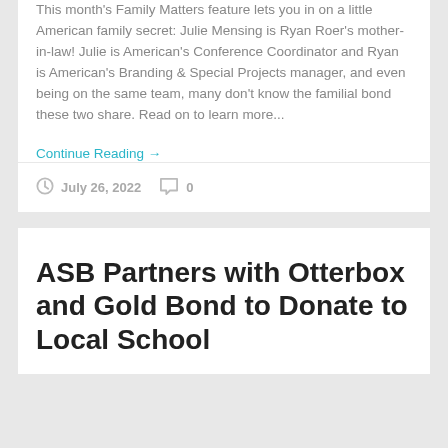This month's Family Matters feature lets you in on a little American family secret: Julie Mensing is Ryan Roer's mother-in-law! Julie is American's Conference Coordinator and Ryan is American's Branding & Special Projects manager, and even being on the same team, many don't know the familial bond these two share. Read on to learn more...
Continue Reading →
July 26, 2022  0
ASB Partners with Otterbox and Gold Bond to Donate to Local School